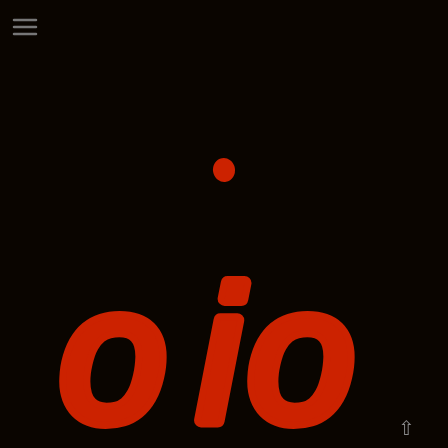[Figure (logo): Dark background with orange/red stylized 'oio' text logo with a dot above the 'i', and a hamburger menu icon in the top left corner and a scroll-up arrow in the bottom right.]